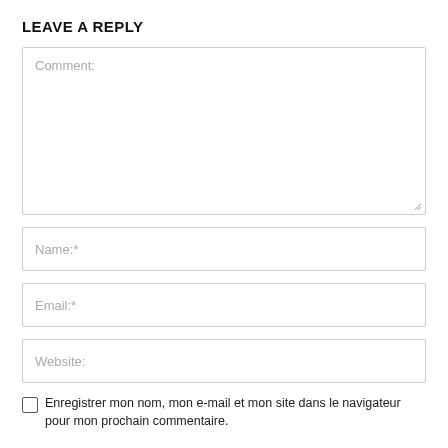LEAVE A REPLY
[Figure (screenshot): Web comment form with textarea labeled 'Comment:', input fields for 'Name:*', 'Email:*', 'Website:', and a checkbox with label text in French.]
Enregistrer mon nom, mon e-mail et mon site dans le navigateur pour mon prochain commentaire.